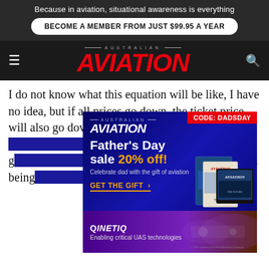Because in aviation, situational awareness is everything
BECOME A MEMBER FROM JUST $99.95 A YEAR
AUSTRALIAN AVIATION
I do not know what this equation will be like, I have no idea, but if all prices go down, the ticket price will also go down those at all will go and be ha an being
[Figure (advertisement): Australian Aviation Father's Day sale 20% off advertisement with CODE: DADSDAY, blue background, magazine images on right side]
[Figure (advertisement): QinetiQ Enabling critical UAS technologies advertisement with purple background and drone imagery]
I woul ot only i